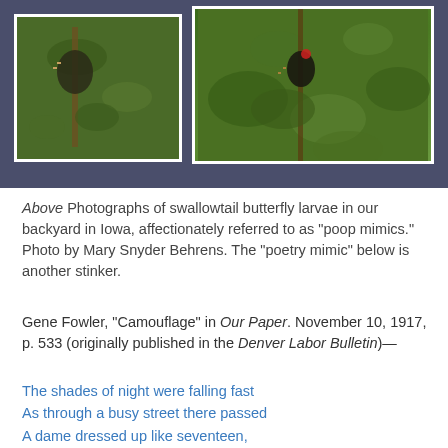[Figure (photo): Two photographs of swallowtail butterfly larvae on green plants, shown against a dark blue-gray background. Left photo shows a larva on a stem, right photo shows a larva among green leaves.]
Above Photographs of swallowtail butterfly larvae in our backyard in Iowa, affectionately referred to as "poop mimics." Photo by Mary Snyder Behrens. The "poetry mimic" below is another stinker.
Gene Fowler, "Camouflage" in Our Paper. November 10, 1917, p. 533 (originally published in the Denver Labor Bulletin)—
The shades of night were falling fast
As through a busy street there passed
A dame dressed up like seventeen,
But fifty years, at least, she'd seen—
    Camouflage!